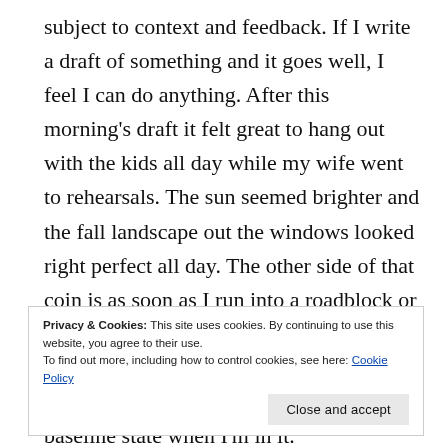subject to context and feedback. If I write a draft of something and it goes well, I feel I can do anything. After this morning's draft it felt great to hang out with the kids all day while my wife went to rehearsals. The sun seemed brighter and the fall landscape out the windows looked right perfect all day. The other side of that coin is as soon as I run into a roadblock or get a string of rejections, I'll feel like a hack again.  I'll get into my everything-sucks mood again, which feels like my baseline state when I'm in it.
Privacy & Cookies: This site uses cookies. By continuing to use this website, you agree to their use.
To find out more, including how to control cookies, see here: Cookie Policy